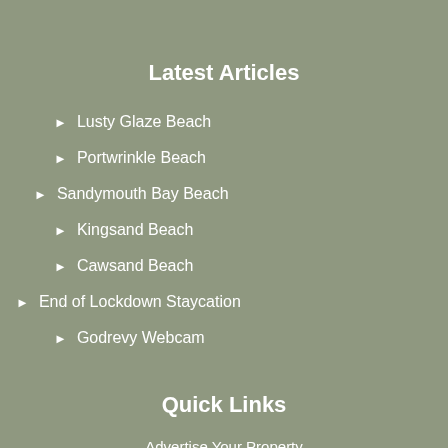Latest Articles
Lusty Glaze Beach
Portwrinkle Beach
Sandymouth Bay Beach
Kingsand Beach
Cawsand Beach
End of Lockdown Staycation
Godrevy Webcam
Quick Links
Advertise Your Property
Privacy and Cookie Policy